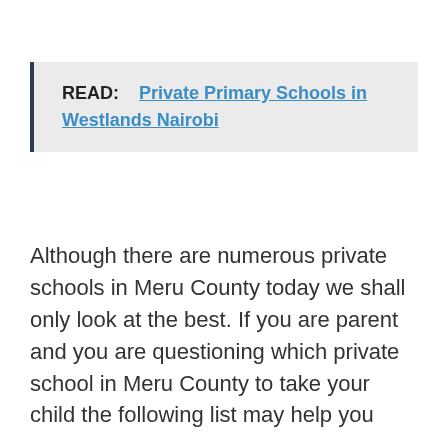READ:   Private Primary Schools in Westlands Nairobi
Although there are numerous private schools in Meru County today we shall only look at the best. If you are parent and you are questioning which private school in Meru County to take your child the following list may help you